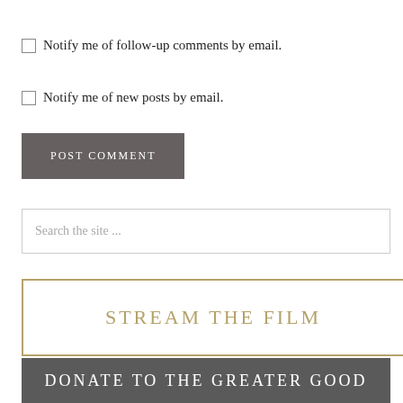Notify me of follow-up comments by email.
Notify me of new posts by email.
POST COMMENT
Search the site ...
STREAM THE FILM
DONATE TO THE GREATER GOOD